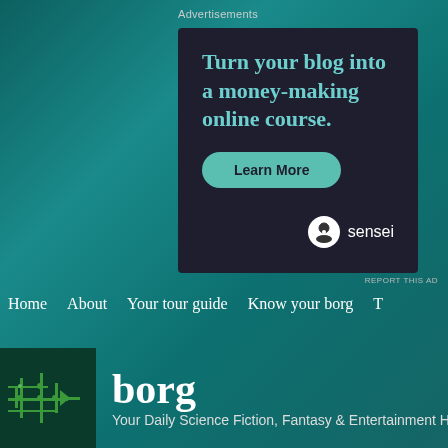Advertisements
[Figure (infographic): Advertisement banner for Sensei platform. Dark background with teal text: 'Turn your blog into a money-making online course.' with a green 'Learn More' button and Sensei logo at bottom right.]
REPORT THIS AD
Home   About   Your tour guide   Know your borg   T
[Figure (logo): Borg website logo with green circuit board icon and white 'borg' text. Subtitle: 'Your Daily Science Fiction, Fantasy & Entertainment H']